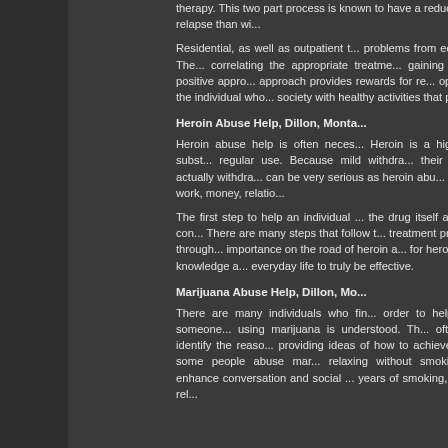therapy. This two part process is known to have a reduced chance at relapse than wi...
Residential, as well as outpatient t... problems from ecstasy abuse. The... correlating the appropriate treatme... gaining ground as a positive appro... approach provides rewards for re... option can help the individual who... society with healthy activities that p...
Heroin Abuse Help, Dillon, Monta...
Heroin abuse help is often neces... Heroin is a highly addictive subst... regular use. Because mild withdra... their "sickness" is actually withdra... can be very serious as heroin abu... havoc to their work, money, relatio...
The first step to help an individual ... the drug itself and help them con... There are many steps that follow t... treatment program will go through... importance on the road of heroin a... for heroin abuse. The knowledge a... everyday life to truly be effective.
Marijuana Abuse Help, Dillon, Mo...
There are many individuals who fin... order to help yourself or someone... using marijuana is understood. Th... often helpful to identify the reaso... providing ideas of how to achieve ... example, some people abuse mar... relaxing without smoking marijua... enhance conversation and social ... years of smoking, the quality of rel...